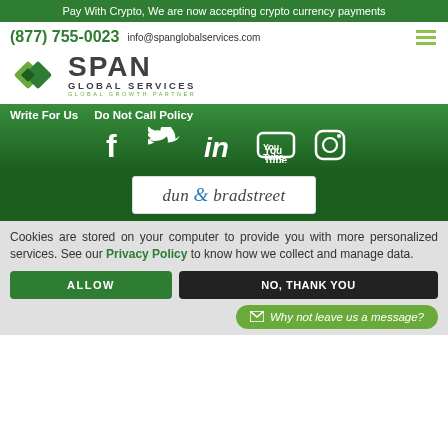Pay With Crypto, We are now accepting crypto currency payments
(877) 755-0023   info@spanglobalservices.com
[Figure (logo): Span Global Services logo with green diamond shapes and company name]
Write For Us   Do Not Call Policy
[Figure (infographic): Social media icons: Facebook, Twitter, LinkedIn, YouTube, Instagram]
[Figure (logo): Dun & Bradstreet logo badge]
Cookies are stored on your computer to provide you with more personalized services. See our Privacy Policy to know how we collect and manage data.
ALLOW   NO, THANK YOU
Why not leave us a message?